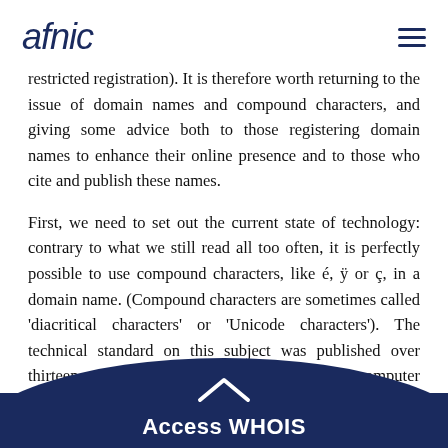afnic
restricted registration). It is therefore worth returning to the issue of domain names and compound characters, and giving some advice both to those registering domain names to enhance their online presence and to those who cite and publish these names.
First, we need to set out the current state of technology: contrary to what we still read all too often, it is perfectly possible to use compound characters, like é, ÿ or ç, in a domain name. (Compound characters are sometimes called 'diacritical characters' or 'Unicode characters'). The technical standard on this subject was published over thirteen years ago, which is an eternity in computer science. (These names including compound characters are called IDNs, for Internationalized Domain Names) The top-level domain .fr has authorised these IDNs for seven years. Afnic has been able to publishing via the website
Access WHOIS